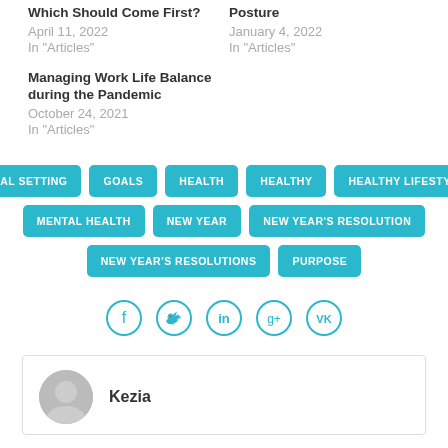Which Should Come First?
April 11, 2022
In "Articles"
Posture
January 4, 2022
In "Articles"
Managing Work Life Balance during the Pandemic
October 24, 2021
In "Articles"
GOAL SETTING
GOALS
HEALTH
HEALTHY
HEALTHY LIFESTYLE
MENTAL HEALTH
NEW YEAR
NEW YEAR'S RESOLUTION
NEW YEAR'S RESOLUTIONS
PURPOSE
[Figure (infographic): Social share icons: Facebook, Twitter, LinkedIn, Google+, VK — circular outlined icons in teal]
Kezia